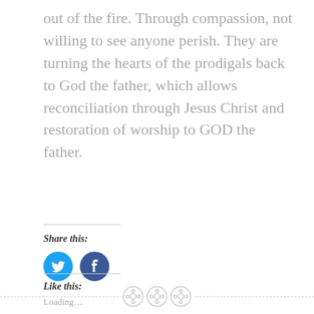out of the fire. Through compassion, not willing to see anyone perish. They are turning the hearts of the prodigals back to God the father, which allows reconciliation through Jesus Christ and restoration of worship to GOD the father.
Share this:
[Figure (illustration): Twitter and Facebook circular blue social share buttons]
Like this:
Loading...
[Figure (illustration): Footer with dashed line and three gray button/icon circles]